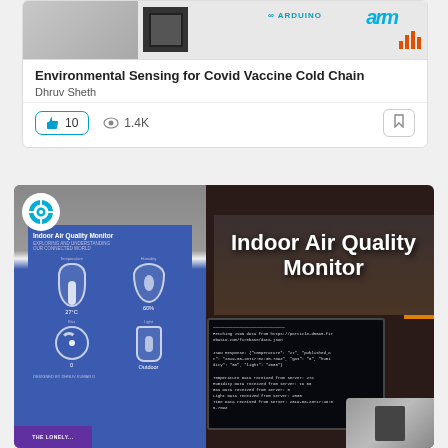[Figure (screenshot): Project card showing Environmental Sensing for Covid Vaccine Cold Chain with Arduino and ARM logos]
Environmental Sensing for Covid Vaccine Cold Chain
Dhruv Sheth
10  1.4K
[Figure (photo): Indoor Air Quality Monitor project photo showing a phone with air quality app, Arduino/Particle setup with LCD screen displaying sensor data readings]